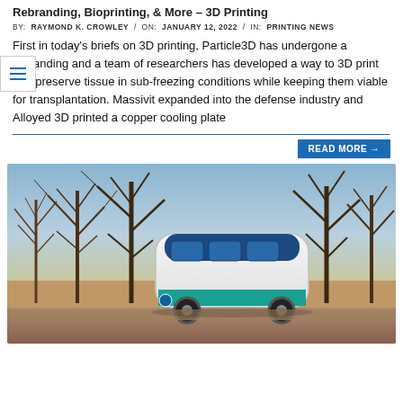Rebranding, Bioprinting, & More – 3D Printing
BY: RAYMOND K. CROWLEY / ON: JANUARY 12, 2022 / IN: PRINTING NEWS
First in today's briefs on 3D printing, Particle3D has undergone a rebranding and a team of researchers has developed a way to 3D print and preserve tissue in sub-freezing conditions while keeping them viable for transplantation. Massivit expanded into the defense industry and Alloyed 3D printed a copper cooling plate
READ MORE →
[Figure (photo): Photo of a small driverless electric bus with white and blue exterior, parked among bare winter trees with a building visible in the background.]